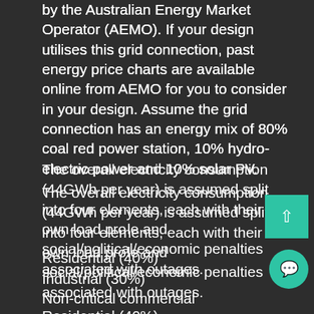by the Australian Energy Market Operator (AEMO). If your design utilises this grid connection, past energy price charts are available online from AEMO for you to consider in your design. Assume the grid connection has an energy mix of 80% coal red power station, 10% hydro-electric power and 10% solar PV.
The overall electricity consumption (44GWh per year) is assumed split into four elements, each with their own load pro le and social/political/economic penalties associated with outages.
Residential (40%)
Industrial (30%)
Non-critical commercial (20%)
Critical commercial (10%)
Any available sites in the region in which a